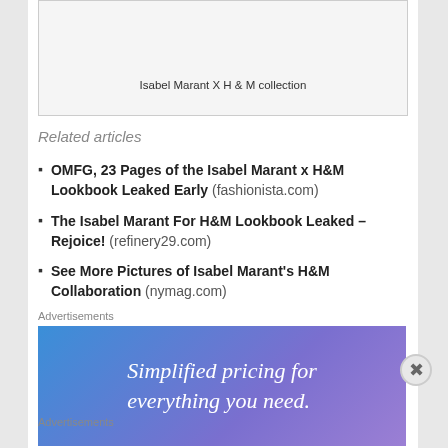[Figure (photo): Image placeholder box (top of page, partial view)]
Isabel Marant X H & M collection
Related articles
OMFG, 23 Pages of the Isabel Marant x H&M Lookbook Leaked Early (fashionista.com)
The Isabel Marant For H&M Lookbook Leaked – Rejoice! (refinery29.com)
See More Pictures of Isabel Marant's H&M Collaboration (nymag.com)
Advertisements
[Figure (screenshot): Advertisement banner with blue-purple gradient background and white text reading 'Simplified pricing for everything you need.']
Advertisements